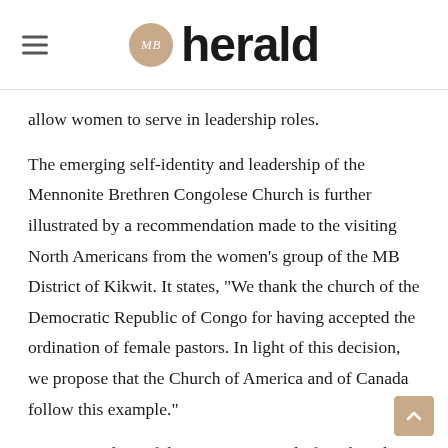MB herald
allow women to serve in leadership roles.
The emerging self-identity and leadership of the Mennonite Brethren Congolese Church is further illustrated by a recommendation made to the visiting North Americans from the women’s group of the MB District of Kikwit. It states, “We thank the church of the Democratic Republic of Congo for having accepted the ordination of female pastors. In light of this decision, we propose that the Church of America and of Canada follow this example.”
Lynn Jost, chair of the U.S. MB Board of Faith and Life and the U.S. representative on ICOMB comments, “Clearly women in pastoral leadership is an issue that is difficult for Mennonite